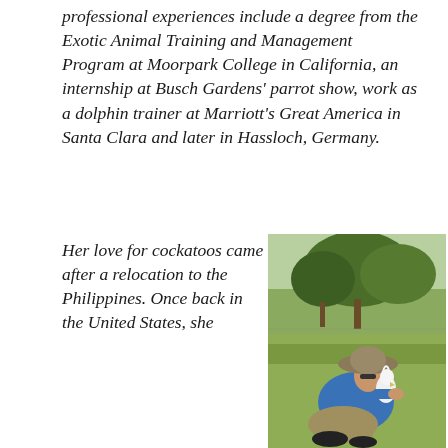professional experiences include a degree from the Exotic Animal Training and Management Program at Moorpark College in California, an internship at Busch Gardens' parrot show, work as a dolphin trainer at Marriott's Great America in Santa Clara and later in Hassloch, Germany.
Her love for cockatoos came after a relocation to the Philippines. Once back in the United States, she
[Figure (photo): A person wearing a wide-brimmed hat and blue jacket sits on grass outdoors, holding a white cockatoo close to their face. Trees and a green field are visible in the background.]